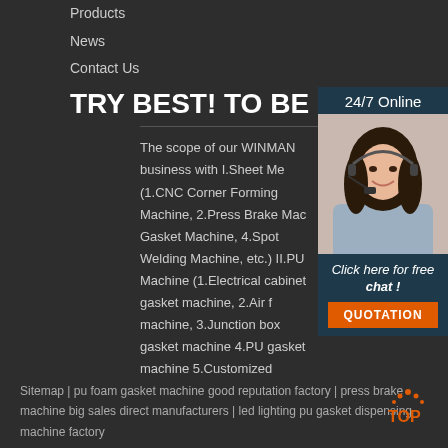Products
News
Contact Us
TRY BEST! TO BE NO.1
[Figure (photo): Customer service representative woman with headset, smiling]
24/7 Online
Click here for free chat !
QUOTATION
The scope of our WINMAN business with I.Sheet Me (1.CNC Corner Forming Machine, 2.Press Brake Mac Gasket Machine, 4.Spot Welding Machine, etc.) II.PU Machine (1.Electrical cabinet gasket machine, 2.Air f machine, 3.Junction box gasket machine 4.PU gasket machine 5.Customized Gasket Seal Solution 6.Robot System, etc.
Sitemap | pu foam gasket machine good reputation factory | press brake machine big sales direct manufacturers | led lighting pu gasket dispensing machine factory